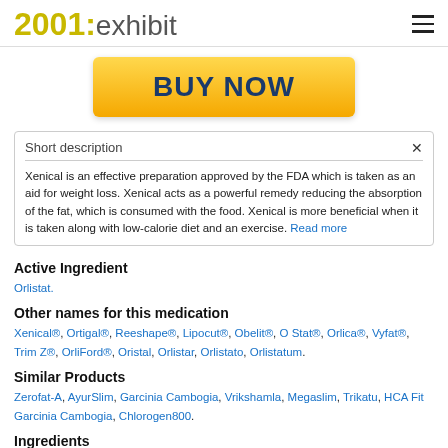2001: exhibit
[Figure (other): Yellow BUY NOW button with dark blue bold text on gradient yellow-orange background]
Short description
Xenical is an effective preparation approved by the FDA which is taken as an aid for weight loss. Xenical acts as a powerful remedy reducing the absorption of the fat, which is consumed with the food. Xenical is more beneficial when it is taken along with low-calorie diet and an exercise. Read more
Active Ingredient
Orlistat.
Other names for this medication
Xenical®, Ortigal®, Reeshape®, Lipocut®, Obelit®, O Stat®, Orlica®, Vyfat®, Trim Z®, OrliFord®, Oristal, Orlistar, Orlistato, Orlistatum.
Similar Products
Zerofat-A, AyurSlim, Garcinia Cambogia, Vrikshamla, Megaslim, Trikatu, HCA Fit Garcinia Cambogia, Chlorogen800.
Ingredients